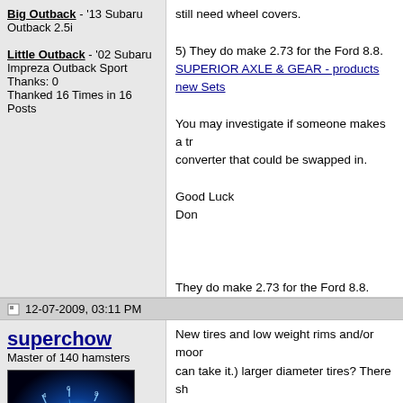Big Outback - '13 Subaru Outback 2.5i
Little Outback - '02 Subaru Impreza Outback Sport
Thanks: 0
Thanked 16 Times in 16 Posts
still need wheel covers.

5) They do make 2.73 for the Ford 8.8. SUPERIOR AXLE & GEAR - products new Sets

You may investigate if someone makes a tr converter that could be swapped in.

Good Luck
Don

They do make 2.73 for the Ford 8.8. SUPERIOR AXLE & GEAR - products new Sets
12-07-2009, 03:11 PM
superchow
Master of 140 hamsters
[Figure (photo): Avatar image showing a glowing blue car speedometer/gauge cluster]
New tires and low weight rims and/or moor can take it.) larger diameter tires? There sh changing out the read differential.

The simple things may help the most comp

1) Weight reduction - spare tire in back. Sp
2) General maintenance - Oil change. Whe